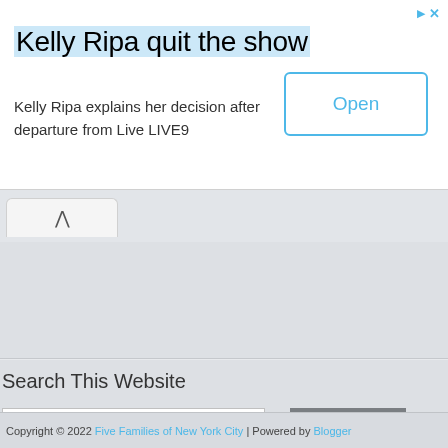[Figure (screenshot): Advertisement banner: 'Kelly Ripa quit the show' with Open button]
Kelly Ripa quit the show
Kelly Ripa explains her decision after departure from Live LIVE9
Search This Website
[Figure (screenshot): Search input box and Search button]
Copyright © 2022 Five Families of New York City | Powered by Blogger